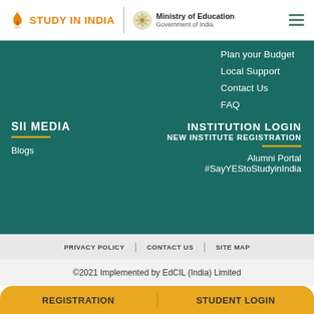[Figure (logo): Study in India logo with flame icon, vertical divider, Ministry of Education Government of India emblem and text, hamburger menu icon]
Plan your Budget
Local Support
Contact Us
FAQ
SII MEDIA
Blogs
INSTITUTION LOGIN
NEW INSTITUTE REGISTRATION
Alumni Portal
#SayYEStoStudyinIndia
PRIVACY POLICY | CONTACT US | SITE MAP
©2021 Implemented by EdCIL (India) Limited
REGISTRATION    STUDENT LOGIN